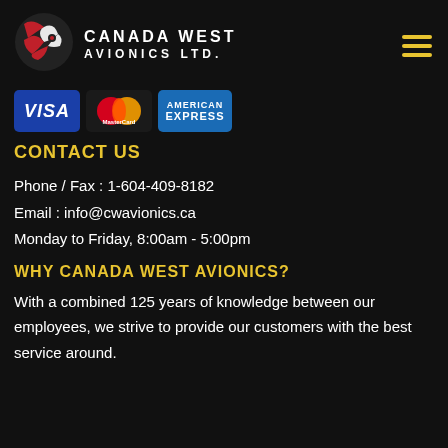CANADA WEST AVIONICS LTD.
[Figure (logo): Canada West Avionics Ltd. logo: red and white circular emblem with stylized bird/aircraft motif, followed by company name in white uppercase lettering]
[Figure (other): Payment method icons: Visa, MasterCard, American Express]
CONTACT US
Phone / Fax : 1-604-409-8182
Email : info@cwavionics.ca
Monday to Friday, 8:00am - 5:00pm
WHY CANADA WEST AVIONICS?
With a combined 125 years of knowledge between our employees, we strive to provide our customers with the best service around.